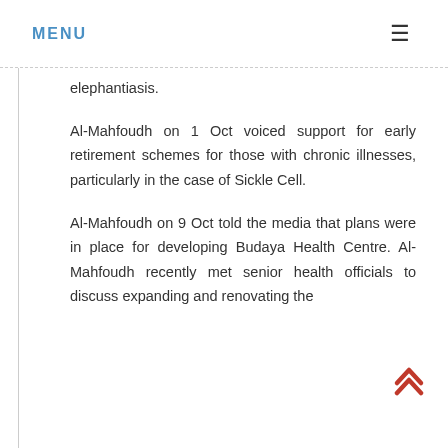MENU ≡
elephantiasis.
Al-Mahfoudh on 1 Oct voiced support for early retirement schemes for those with chronic illnesses, particularly in the case of Sickle Cell.
Al-Mahfoudh on 9 Oct told the media that plans were in place for developing Budaya Health Centre. Al-Mahfoudh recently met senior health officials to discuss expanding and renovating the